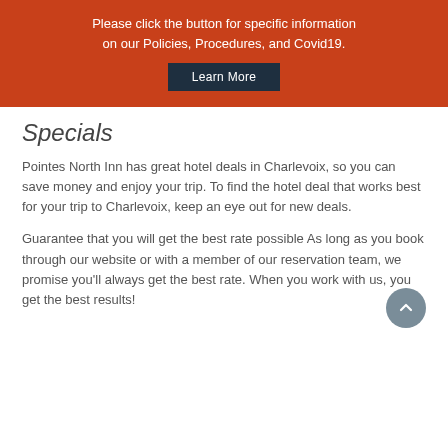Please click the button for specific information on our Policies, Procedures, and Covid19.
Specials
Pointes North Inn has great hotel deals in Charlevoix, so you can save money and enjoy your trip. To find the hotel deal that works best for your trip to Charlevoix, keep an eye out for new deals.
Guarantee that you will get the best rate possible As long as you book through our website or with a member of our reservation team, we promise you’ll always get the best rate. When you work with us, you get the best results!